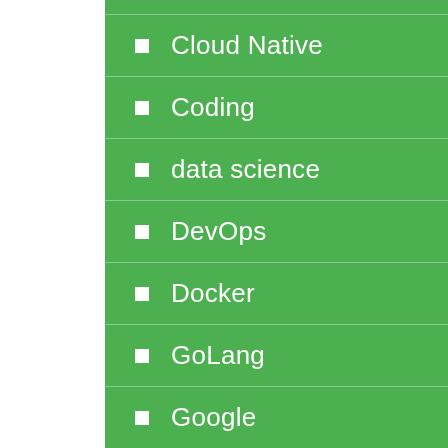Cloud Native
Coding
data science
DevOps
Docker
GoLang
Google
Jenkins
Jenkins Course
Kubernetes
Microservices
SAP
Spark
Spark Course
Technical Interviews